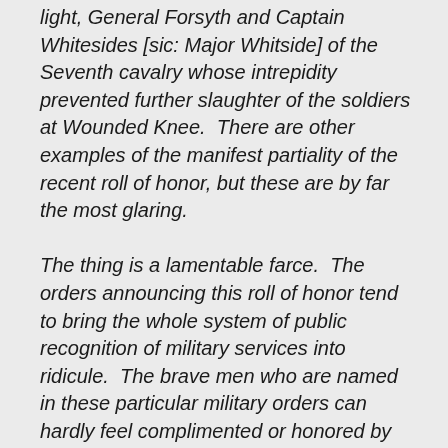light, General Forsyth and Captain Whitesides [sic: Major Whitside] of the Seventh cavalry whose intrepidity prevented further slaughter of the soldiers at Wounded Knee.  There are other examples of the manifest partiality of the recent roll of honor, but these are by far the most glaring.
The thing is a lamentable farce.  The orders announcing this roll of honor tend to bring the whole system of public recognition of military services into ridicule.  The brave men who are named in these particular military orders can hardly feel complimented or honored by the distinction, because of the manifest unfairness of singling out for equal honors officers whose